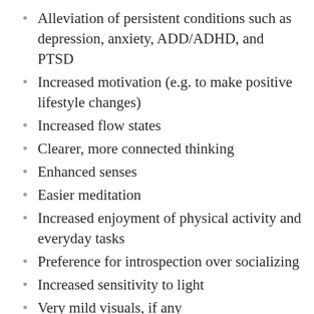Alleviation of persistent conditions such as depression, anxiety, ADD/ADHD, and PTSD
Increased motivation (e.g. to make positive lifestyle changes)
Increased flow states
Clearer, more connected thinking
Enhanced senses
Easier meditation
Increased enjoyment of physical activity and everyday tasks
Preference for introspection over socializing
Increased sensitivity to light
Very mild visuals, if any
Possible manic states